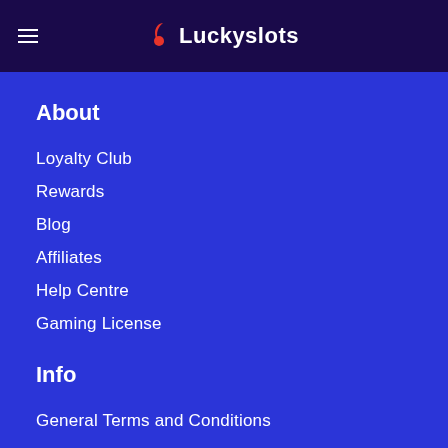≡  Luckyslots
About
Loyalty Club
Rewards
Blog
Affiliates
Help Centre
Gaming License
Info
General Terms and Conditions